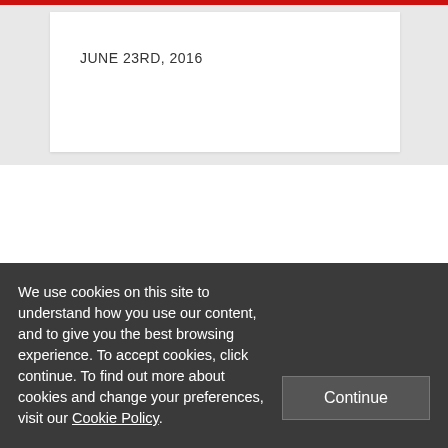JUNE 23RD, 2016
[Figure (logo): Twitter bird icon, Facebook f icon, RSS feed icon — social media links]
[Figure (logo): LSE red logo box with letters LSE and text THE LONDON SCHOOL]
We use cookies on this site to understand how you use our content, and to give you the best browsing experience. To accept cookies, click continue. To find out more about cookies and change your preferences, visit our Cookie Policy.
Continue